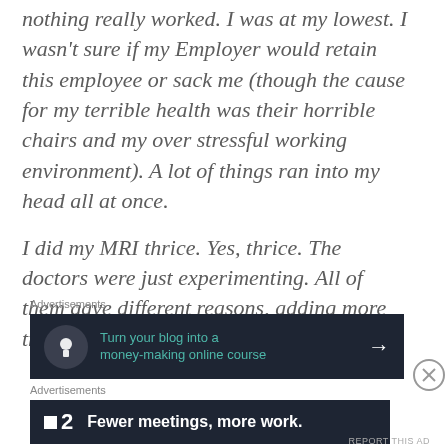nothing really worked. I was at my lowest. I wasn't sure if my Employer would retain this employee or sack me (though the cause for my terrible health was their horrible chairs and my over stressful working environment). A lot of things ran into my head all at once.
I did my MRI thrice. Yes, thrice. The doctors were just experimenting. All of them gave different reasons, adding more trauma to my already stressed soul.
Advertisements
[Figure (infographic): Dark advertisement banner with tree/person icon: 'Turn your blog into a money-making online course' with arrow]
Advertisements
[Figure (infographic): Dark advertisement banner with Teachable logo: 'Fewer meetings, more work.']